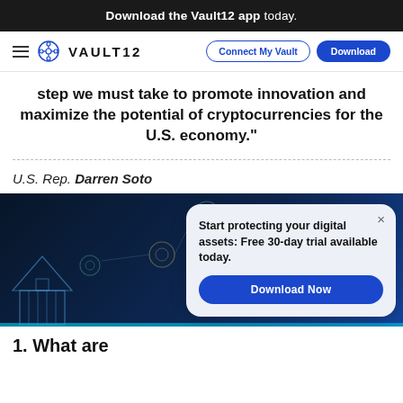Download the Vault12 app today.
[Figure (logo): Vault12 navigation bar with hamburger menu, Vault12 logo, Connect My Vault and Download buttons]
step we must take to promote innovation and maximize the potential of cryptocurrencies for the U.S. economy."
U.S. Rep. Darren Soto
[Figure (illustration): Dark blue background with floating circular network icons and a building/capitol outline. An overlay popup reads: Start protecting your digital assets: Free 30-day trial available today. Download Now button.]
1. What are